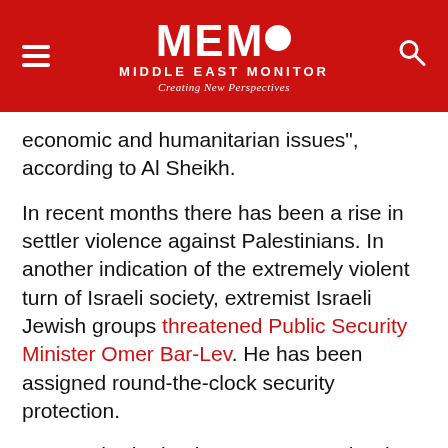MEMO MIDDLE EAST MONITOR — Creating New Perspectives
economic and humanitarian issues", according to Al Sheikh.
In recent months there has been a rise in settler violence against Palestinians. In another indication of the extremely violent turn of Israeli society, extremist Israeli Jewish groups threatened Public Security Minister Omer Bar-Lev. He has been assigned round-the-clock security protection.
Bar-Lev had raised concerns over the rise of settler violence with US officials and said that that he was working to put an end to it.